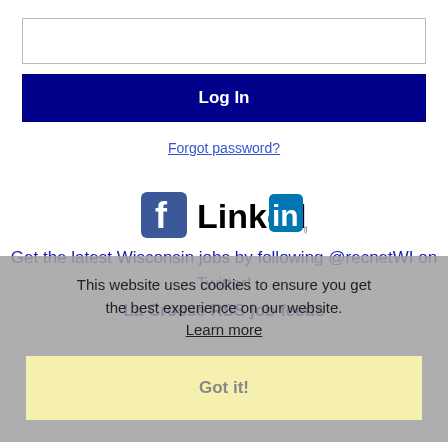[Figure (screenshot): Empty text input box for login form]
Log In
Forgot password?
[Figure (logo): Facebook and LinkedIn social media logos side by side]
Get the latest Wisconsin jobs by following @recnetWI on Twitter!
La Crosse RSS job feeds
This website uses cookies to ensure you get the best experience on our website.
Learn more
Got it!